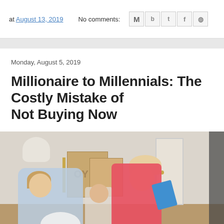at August 13, 2019   No comments:
Monday, August 5, 2019
Millionaire to Millennials: The Costly Mistake of Not Buying Now
[Figure (photo): A woman and two young children surrounded by moving boxes in a room, appearing to be in the process of moving.]